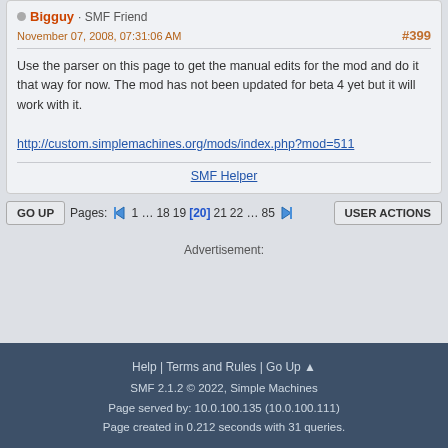Bigguy · SMF Friend
November 07, 2008, 07:31:06 AM
#399
Use the parser on this page to get the manual edits for the mod and do it that way for now. The mod has not been updated for beta 4 yet but it will work with it.
http://custom.simplemachines.org/mods/index.php?mod=511
SMF Helper
Pages: 1 … 18 19 [20] 21 22 … 85
Help | Terms and Rules | Go Up ▲
SMF 2.1.2 © 2022, Simple Machines
Page served by: 10.0.100.135 (10.0.100.111)
Page created in 0.212 seconds with 31 queries.